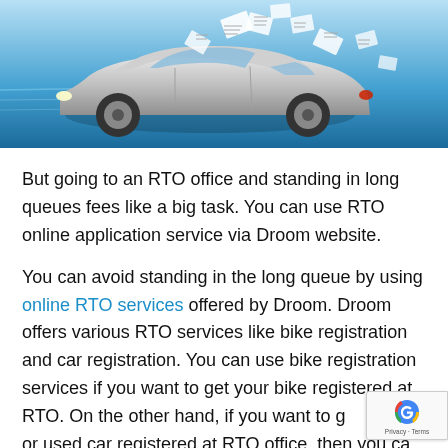[Figure (illustration): A silver car speeding with papers/documents flying around it, on a blue background suggesting speed and digital document processing.]
But going to an RTO office and standing in long queues fees like a big task. You can use RTO online application service via Droom website.
You can avoid standing in the long queue by using online RTO services offered by Droom. Droom offers various RTO services like bike registration and car registration. You can use bike registration services if you want to get your bike registered at RTO. On the other hand, if you want to get a new or used car registered at RTO office, then you can use our car registration service.